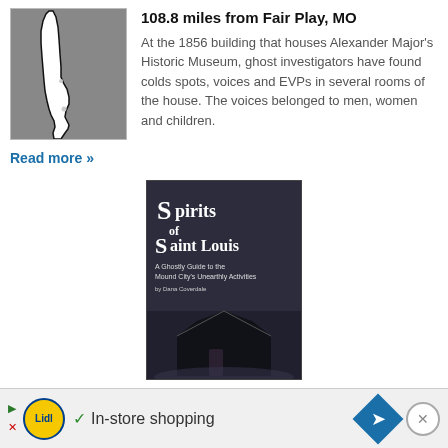[Figure (map): Map outline of a US state (Illinois-like shape) on grey background]
108.8 miles from Fair Play, MO
At the 1856 building that houses Alexander Major's Historic Museum, ghost investigators have found colds spots, voices and EVPs in several rooms of the house. The voices belonged to men, women and children.
Read more »
[Figure (photo): Book cover: Spirits of Saint Louis – A Ghostly Guide to the Mound City's Unearthly Activities, showing a dark haunted house at night]
Spirits of St. Louis: A Ghostly Guide to the Mound City's